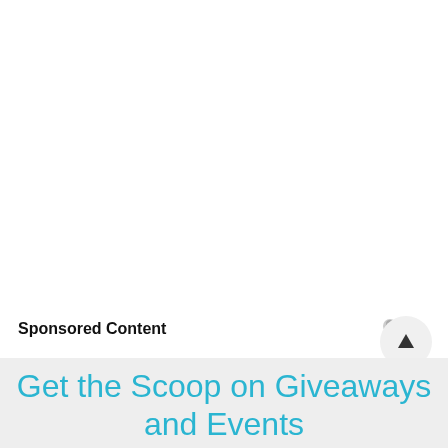Sponsored Content
Get the Scoop on Giveaways and Events